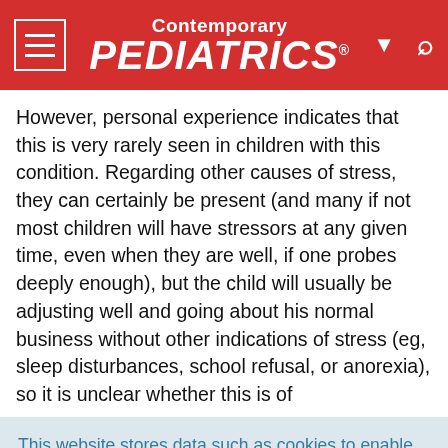Contemporary PEDIATRICS
However, personal experience indicates that this is very rarely seen in children with this condition. Regarding other causes of stress, they can certainly be present (and many if not most children will have stressors at any given time, even when they are well, if one probes deeply enough), but the child will usually be adjusting well and going about his normal business without other indications of stress (eg, sleep disturbances, school refusal, or anorexia), so it is unclear whether this is of
This website stores data such as cookies to enable essential site functionality, as well as marketing, personalization, and analytics. Cookie Policy
Accept
Deny